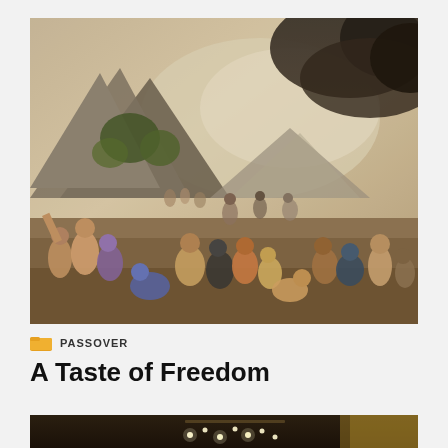[Figure (illustration): Classical oil painting depicting a large group of people in a dramatic landscape with mountains and dark storm clouds. Figures in ancient dress are gathered in the foreground, some kneeling or gesturing, in a scene reminiscent of a biblical or mythological event.]
PASSOVER
A Taste of Freedom
[Figure (photo): Partial view of an ornate interior with a lit chandelier and decorative architectural elements, cropped at the bottom of the page.]